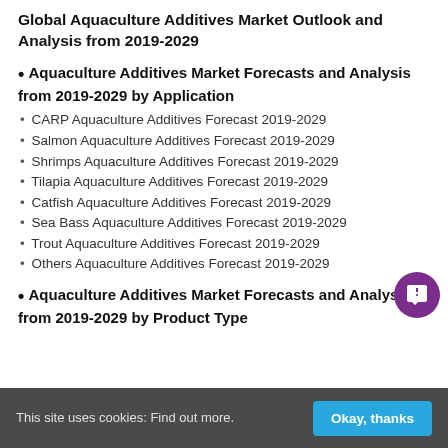Global Aquaculture Additives Market Outlook and Analysis from 2019-2029
Aquaculture Additives Market Forecasts and Analysis from 2019-2029 by Application
CARP Aquaculture Additives Forecast 2019-2029
Salmon Aquaculture Additives Forecast 2019-2029
Shrimps Aquaculture Additives Forecast 2019-2029
Tilapia Aquaculture Additives Forecast 2019-2029
Catfish Aquaculture Additives Forecast 2019-2029
Sea Bass Aquaculture Additives Forecast 2019-2029
Trout Aquaculture Additives Forecast 2019-2029
Others Aquaculture Additives Forecast 2019-2029
Aquaculture Additives Market Forecasts and Analysis from 2019-2029 by Product Type
This site uses cookies: Find out more.